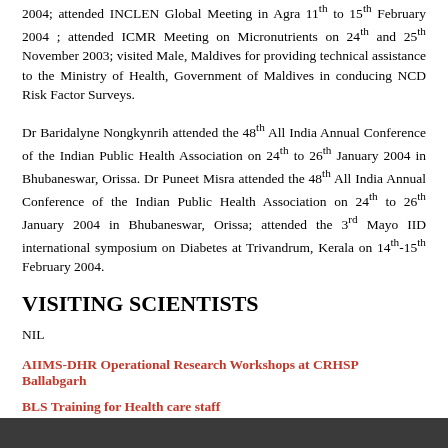2004; attended INCLEN Global Meeting in Agra 11th to 15th February 2004 ; attended ICMR Meeting on Micronutrients on 24th and 25th November 2003; visited Male, Maldives for providing technical assistance to the Ministry of Health, Government of Maldives in conducing NCD Risk Factor Surveys.
Dr Baridalyne Nongkynrih attended the 48th All India Annual Conference of the Indian Public Health Association on 24th to 26th January 2004 in Bhubaneswar, Orissa. Dr Puneet Misra attended the 48th All India Annual Conference of the Indian Public Health Association on 24th to 26th January 2004 in Bhubaneswar, Orissa; attended the 3rd Mayo IID international symposium on Diabetes at Trivandrum, Kerala on 14th-15th February 2004.
VISITING SCIENTISTS
NIL
AIIMS-DHR Operational Research Workshops at CRHSP Ballabgarh
BLS Training for Health care staff